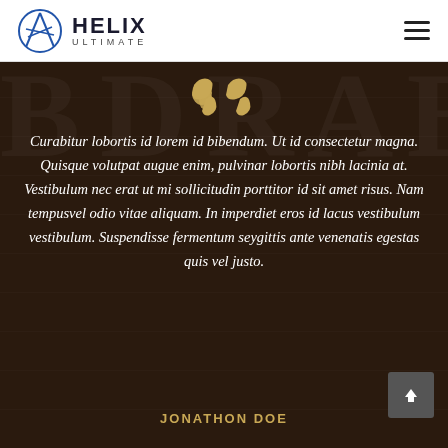HELIX ULTIMATE
[Figure (illustration): Gold/tan quotation mark icon on dark brown background]
Curabitur lobortis id lorem id bibendum. Ut id consectetur magna. Quisque volutpat augue enim, pulvinar lobortis nibh lacinia at. Vestibulum nec erat ut mi sollicitudin porttitor id sit amet risus. Nam tempusvel odio vitae aliquam. In imperdiet eros id lacus vestibulum vestibulum. Suspendisse fermentum seygittis ante venenatis egestas quis vel justo.
JONATHON DOE